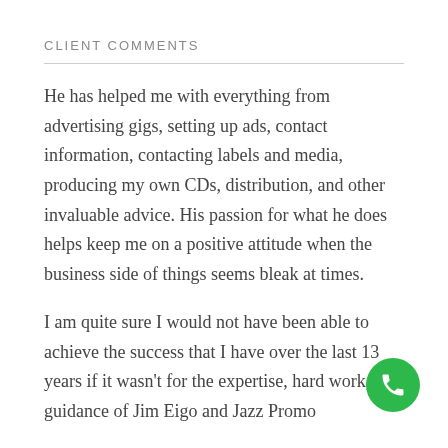CLIENT COMMENTS
He has helped me with everything from advertising gigs, setting up ads, contact information, contacting labels and media, producing my own CDs, distribution, and other invaluable advice. His passion for what he does helps keep me on a positive attitude when the business side of things seems bleak at times.
I am quite sure I would not have been able to achieve the success that I have over the last 13 years if it wasn't for the expertise, hard work, and guidance of Jim Eigo and Jazz Promo